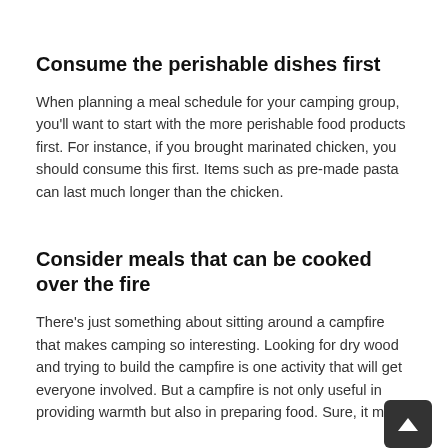Consume the perishable dishes first
When planning a meal schedule for your camping group, you'll want to start with the more perishable food products first. For instance, if you brought marinated chicken, you should consume this first. Items such as pre-made pasta can last much longer than the chicken.
Consider meals that can be cooked over the fire
There's just something about sitting around a campfire that makes camping so interesting. Looking for dry wood and trying to build the campfire is one activity that will get everyone involved. But a campfire is not only useful in providing warmth but also in preparing food. Sure, it might